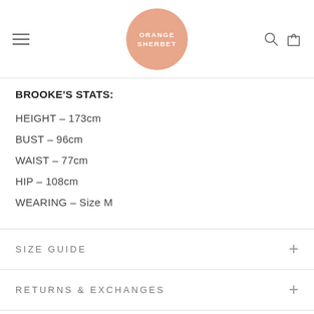ORANGE SHERBET (logo)
BROOKE'S STATS:
HEIGHT – 173cm
BUST – 96cm
WAIST – 77cm
HIP – 108cm
WEARING – Size M
SIZE GUIDE
RETURNS & EXCHANGES